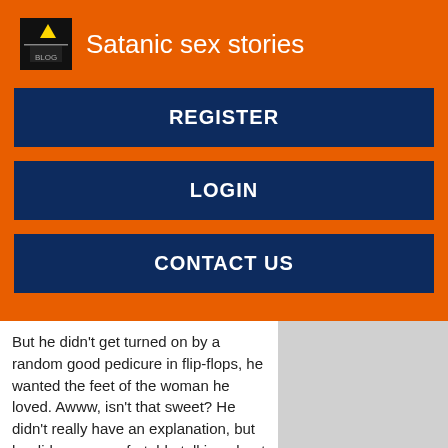Satanic sex stories
REGISTER
LOGIN
CONTACT US
But he didn't get turned on by a random good pedicure in flip-flops, he wanted the feet of the woman he loved. Awww, isn't that sweet? He didn't really have an explanation, but he did seem comfortable talking about it.
What i learned from dating